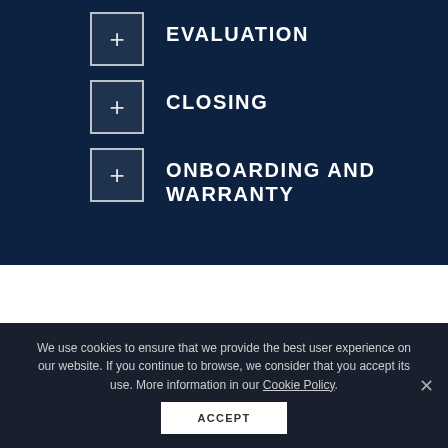EVALUATION
CLOSING
ONBOARDING AND WARRANTY
We use cookies to ensure that we provide the best user experience on our website. If you continue to browse, we consider that you accept its use. More information in our Cookie Policy.
ACCEPT